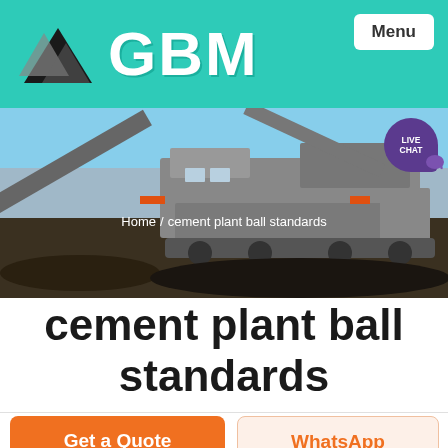[Figure (logo): GBM logo with triangular arrow shape on teal/green background with GBM text]
[Figure (photo): Industrial mining/crushing equipment - mobile crusher plant with conveyor belts at a quarry site]
Home / cement plant ball standards
cement plant ball standards
Get a Quote
WhatsApp